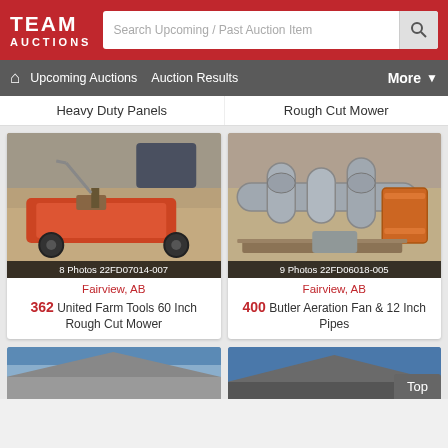TEAM AUCTIONS
Search Upcoming / Past Auction Items
Upcoming Auctions   Auction Results   More
Heavy Duty Panels
Rough Cut Mower
[Figure (photo): Red rotary mower / rough cut mower on dirt ground, with farm equipment in background]
8 Photos 22FD07014-007
Fairview, AB
362 United Farm Tools 60 Inch Rough Cut Mower
[Figure (photo): Butler aeration fan with 12 inch metal pipes assembled on pallet on dirt ground]
9 Photos 22FD06018-005
Fairview, AB
400 Butler Aeration Fan & 12 Inch Pipes
[Figure (photo): Partial view of building rooftop with blue sky background]
[Figure (photo): Partial view of another building rooftop with blue sky background]